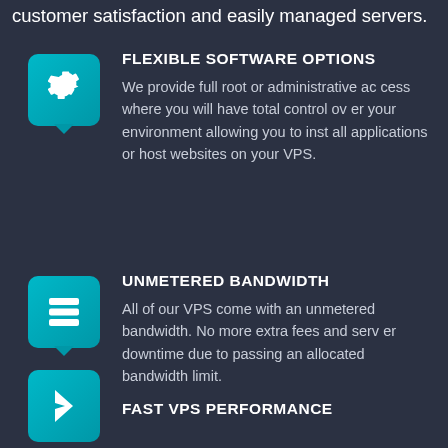customer satisfaction and easily managed servers.
FLEXIBLE SOFTWARE OPTIONS
We provide full root or administrative access where you will have total control over your environment allowing you to install applications or host websites on your VPS.
UNMETERED BANDWIDTH
All of our VPS come with an unmetered bandwidth. No more extra fees and server downtime due to passing an allocated bandwidth limit.
FAST VPS PERFORMANCE